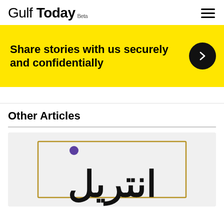Gulf Today Beta
Share stories with us securely and confidentially
Other Articles
[Figure (illustration): Arabic calligraphy text inside a decorative gold rectangular border on a light grey background, with a purple dot accent]